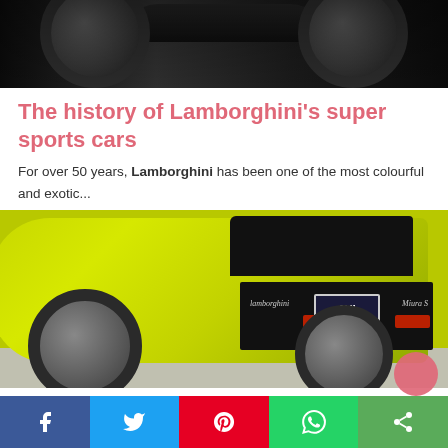[Figure (photo): Top portion of a dark sports car, showing the roof and wheels against a dark background]
The history of Lamborghini's super sports cars
For over 50 years, Lamborghini has been one of the most colourful and exotic...
[Figure (photo): Rear view of a lime green Lamborghini Miura with license plate JLM 888]
The new Renault Austral will replace Kadjar
[Figure (infographic): Social media share buttons: Facebook, Twitter, Pinterest, WhatsApp, Share]